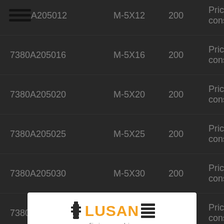| Reference | Size | Qty | Price |
| --- | --- | --- | --- |
| ...0A205012 | M-5X12 | 200 | Price to consult |
| 7380A205016 | M-5X16 | 200 | Price to consult |
| 7380A205020 | M-5X20 | 200 | Price to consult |
| 7380A205025 | M-5X25 | 200 | Price to consult |
| 7380A205030 | M-5X30 | 200 | Price to consult |
| 7380A205035 | M-5X35 | 200 | Price to consult |
| 73... |  |  | ...sult |
| 73... |  |  | ...sult |
[Figure (logo): LUSAN fijaciones y anclajes logo with bolt icon on left and stripes icon on right, orange text]
We use our own and third-party cookies for analytical and